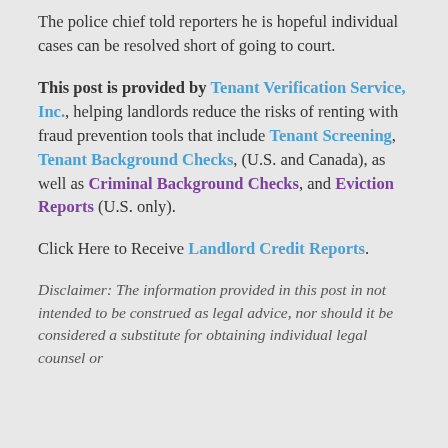The police chief told reporters he is hopeful individual cases can be resolved short of going to court.
This post is provided by Tenant Verification Service, Inc., helping landlords reduce the risks of renting with fraud prevention tools that include Tenant Screening, Tenant Background Checks, (U.S. and Canada), as well as Criminal Background Checks, and Eviction Reports (U.S. only).
Click Here to Receive Landlord Credit Reports.
Disclaimer: The information provided in this post in not intended to be construed as legal advice, nor should it be considered a substitute for obtaining individual legal counsel or